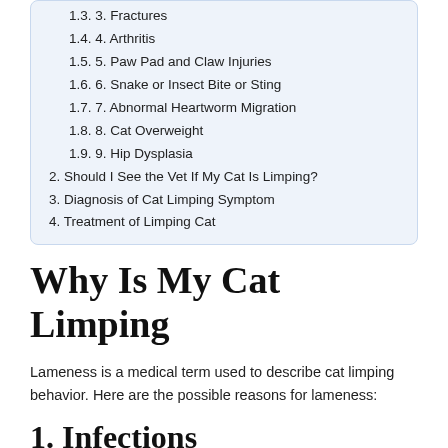1.3. 3. Fractures
1.4. 4. Arthritis
1.5. 5. Paw Pad and Claw Injuries
1.6. 6. Snake or Insect Bite or Sting
1.7. 7. Abnormal Heartworm Migration
1.8. 8. Cat Overweight
1.9. 9. Hip Dysplasia
2. Should I See the Vet If My Cat Is Limping?
3. Diagnosis of Cat Limping Symptom
4. Treatment of Limping Cat
Why Is My Cat Limping
Lameness is a medical term used to describe cat limping behavior. Here are the possible reasons for lameness:
1. Infections